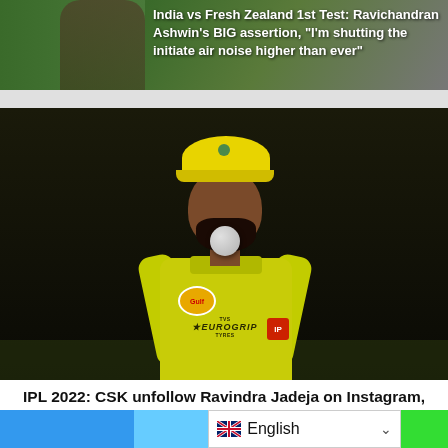[Figure (photo): Top article image showing a cricket-related scene with green background and a person, with white bold headline text overlaid]
India vs Fresh Zealand 1st Test: Ravichandran Ashwin's BIG assertion, "I'm shutting the initiate air noise higher than ever"
[Figure (photo): Ravindra Jadeja wearing yellow CSK (Chennai Super Kings) jersey and cap, holding a cricket ball, standing on a cricket field with dark background]
IPL 2022: CSK unfollow Ravindra Jadeja on Instagram, spark rift rumours as all-rounder ruled out of tournament
[Figure (photo): Partially visible bottom article image strip showing a cricket match scene]
English